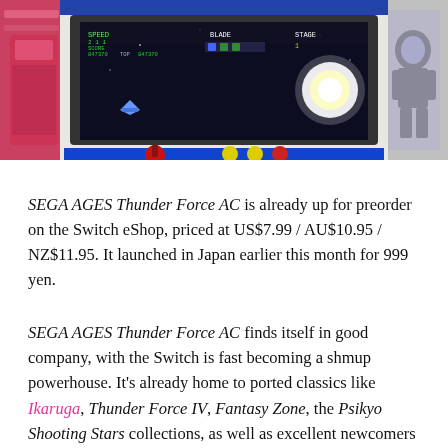[Figure (photo): Arcade cabinet photograph showing a Thunder Force AC game screen with HUD displaying SPEED, SCORE, BLADE, STAGE info. Red joystick and yellow buttons visible in foreground. Side panels show decorative graphics.]
SEGA AGES Thunder Force AC is already up for preorder on the Switch eShop, priced at US$7.99 / AU$10.95 / NZ$11.95. It launched in Japan earlier this month for 999 yen.
SEGA AGES Thunder Force AC finds itself in good company, with the Switch is fast becoming a shmup powerhouse. It's already home to ported classics like Ikaruga, Thunder Force IV, Fantasy Zone, the Psikyo Shooting Stars collections, as well as excellent newcomers like Black Bird and Rolling Gunner. (I just hope CAVE comes to the party soon—Switch versions of DoDonPachi and Mushihimesama would be